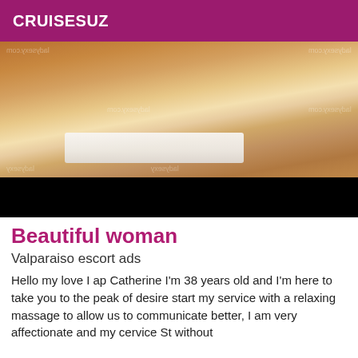CRUISESUZ
[Figure (photo): Close-up photo of a woman's torso wearing white lace underwear, with watermarks from ladysexy.com overlaid]
Beautiful woman
Valparaiso escort ads
Hello my love I ap Catherine I'm 38 years old and I'm here to take you to the peak of desire start my service with a relaxing massage to allow us to communicate better, I am very affectionate and my cervice St without